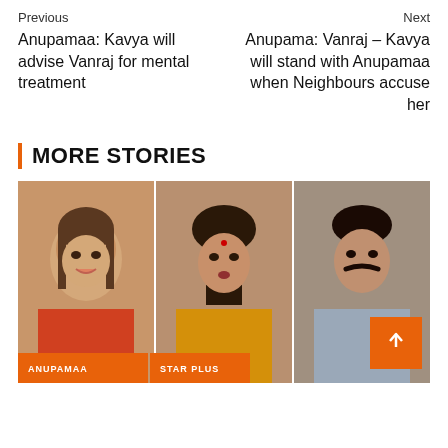Previous
Next
Anupamaa: Kavya will advise Vanraj for mental treatment
Anupama: Vanraj – Kavya will stand with Anupamaa when Neighbours accuse her
MORE STORIES
[Figure (photo): Three panels showing characters from Anupamaa TV show: a smiling young woman (left panel), a woman with a bindi looking concerned (center panel), and a man with a mustache (right panel). Orange tags at bottom read 'ANUPAMAA' and 'STAR PLUS'. Orange scroll-to-top button visible at bottom right.]